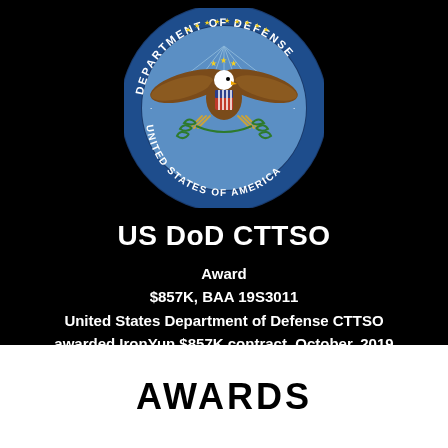[Figure (logo): US Department of Defense official seal: circular seal with bald eagle, shield, laurel branches, and arrows, surrounded by text 'DEPARTMENT OF DEFENSE' and 'UNITED STATES OF AMERICA', gold border ring, blue background]
US DoD CTTSO
Award
$857K, BAA 19S3011
United States Department of Defense CTTSO awarded IronYun $857K contract, October, 2019
AWARDS